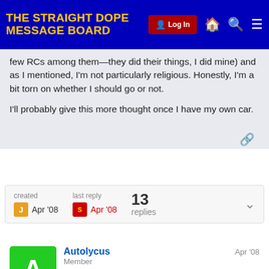THE STRAIGHT DOPE MESSAGE BOARD
few RCs among them—they did their things, I did mine) and as I mentioned, I'm not particularly religious. Honestly, I'm a bit torn on whether I should go or not.

I'll probably give this more thought once I have my own car.
created Apr '08  last reply Apr '08  13 replies
Autolycus Member Apr '08

They guilted you into going by giving you a welcome package? Damn you are a good Catholic 😀

For the record, I think you should go. It would give you a chance to reconnect and re-evaluate your faith.